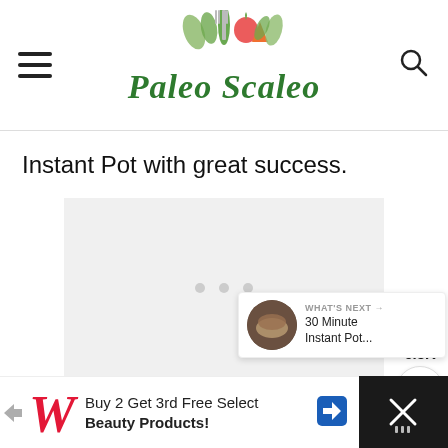Paleo Scaleo
Instant Pot with great success.
[Figure (other): Advertisement placeholder with three dots]
[Figure (other): Floating social buttons: heart icon with 6.5K count and share icon]
[Figure (other): What's Next card: thumbnail image with text '30 Minute Instant Pot...']
[Figure (other): Walgreens advertisement banner: Buy 2 Get 3rd Free Select Beauty Products!]